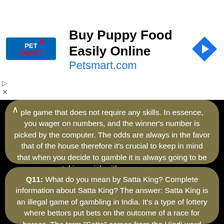[Figure (other): PetSmart advertisement banner: Buy Puppy Food Easily Online, Petsmart.com with logo and navigation arrow icon]
ple game that does not require any skills. In essence, you wager on numbers, and the winner's number is picked by the computer. The odds are always in the favor that of the house therefore it's crucial to keep in mind that when you decide to gamble it is always going to be taking a risk with your money
Q11: What do you mean by Satta King? Complete information about Satta King? The answer: Satta King is an illegal game of gambling in India. It's a type of lottery where bettors put bets on the outcome of a race for horses. The term "Satta" comes from the Hindi word meaning betting, "Satta". Satta King is a Satta King game is played by placing bets on digits or combinations of digits, which will be generated randomly by computers. Bets can be placed on figures or on combinations of digits. Players may also bet on outcomes of multiple races. Satta King is a Satta King game is highly addictive, and frequently leads to financial loss for those who take part in it. According to estimates, more than 90%